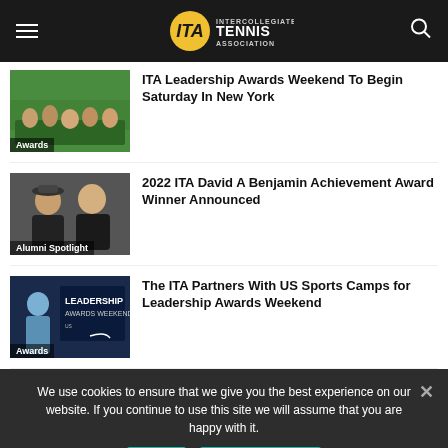ITA Intercollegiate Tennis Association
[Figure (screenshot): Thumbnail image of group of people on tennis court with Awards tag]
ITA Leadership Awards Weekend To Begin Saturday In New York
[Figure (photo): Thumbnail image of two men in formal wear with Alumni Spotlight tag]
2022 ITA David A Benjamin Achievement Award Winner Announced
[Figure (screenshot): Thumbnail image of Leadership Awards Weekend promotional graphic with Awards tag]
The ITA Partners With US Sports Camps for Leadership Awards Weekend
We use cookies to ensure that we give you the best experience on our website. If you continue to use this site we will assume that you are happy with it.